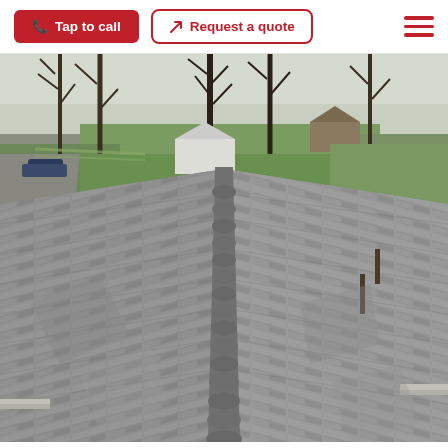Tap to call | Request a quote
[Figure (photo): Aerial view of a gray asphalt shingle roof with ridge cap running down the center, surrounded by bare trees and green lawns in the background]